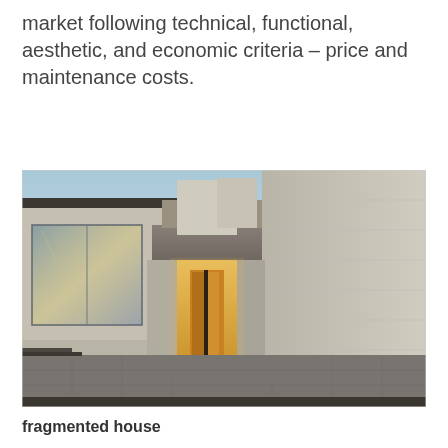market following technical, functional, aesthetic, and economic criteria – price and maintenance costs.
[Figure (photo): Exterior photograph of a modern minimalist house showing a covered entrance corridor with steps leading to a warmly lit doorway, flanked by white rendered walls and a glass facade on the left side, photographed at dusk.]
fragmented house